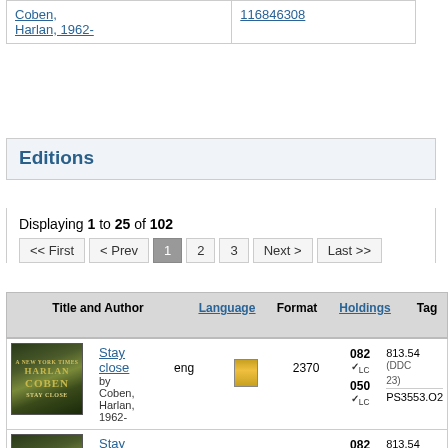|  |  |
| --- | --- |
| Coben, Harlan, 1962- | 116846308 |
Editions
Displaying 1 to 25 of 102
| Title and Author | Language | Format | Holdings | Tag | Class Number |
| --- | --- | --- | --- | --- | --- |
| Stay close by Coben, Harlan, 1962- | eng | [book icon] | 2370 | 082 ✓LC
050 ✓LC | 813.54 (DDC 23)
PS3553.O2 |
| Stay close by Coben, Harlan, 1962- | eng | [A icon] | 1053 | 082 ✓LC
050 ✓LC | 813.54 (DDC 23)
PS3553.O2 |